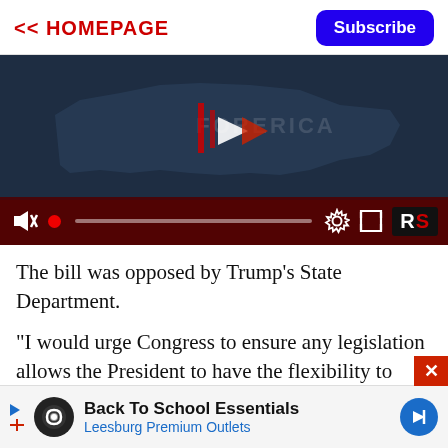<< HOMEPAGE | Subscribe
[Figure (screenshot): Video player screenshot showing a 'Fight For America' branded video with a US map silhouette, play button, and video control bar with mute, progress, settings, fullscreen, and RS logo buttons.]
The bill was opposed by Trump's State Department.
"I would urge Congress to ensure any legislation allows the President to have the flexibility to adjust sanctions to meet the needs of what is always an evolving diplomatic situation," Secretary of State Rex Tillerson told
[Figure (screenshot): Advertisement banner: Back To School Essentials - Leesburg Premium Outlets]
Back To School Essentials
Leesburg Premium Outlets